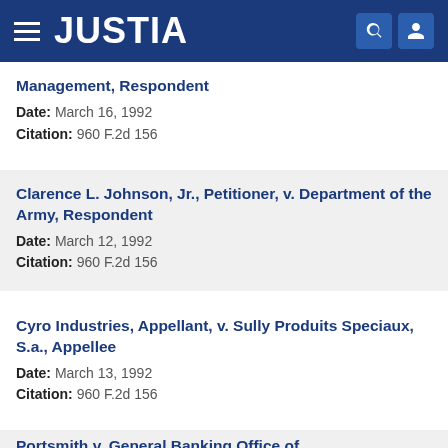JUSTIA
Management, Respondent
Date: March 16, 1992
Citation: 960 F.2d 156
Clarence L. Johnson, Jr., Petitioner, v. Department of the Army, Respondent
Date: March 12, 1992
Citation: 960 F.2d 156
Cyro Industries, Appellant, v. Sully Produits Speciaux, S.a., Appellee
Date: March 13, 1992
Citation: 960 F.2d 156
(partial case title cut off at bottom)